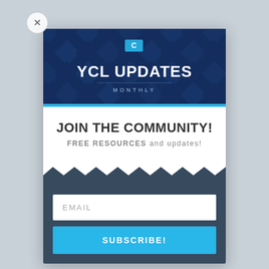[Figure (screenshot): Modal popup overlay showing YCL Updates Monthly newsletter signup. Contains a banner with dark blue background and faces montage, 'YCL UPDATES MONTHLY' heading, 'JOIN THE COMMUNITY!' text, 'FREE RESOURCES and updates!' subtext, zigzag transition to dark section, email input field, and SUBSCRIBE! button.]
JOIN THE COMMUNITY!
FREE RESOURCES and updates!
EMAIL
SUBSCRIBE!